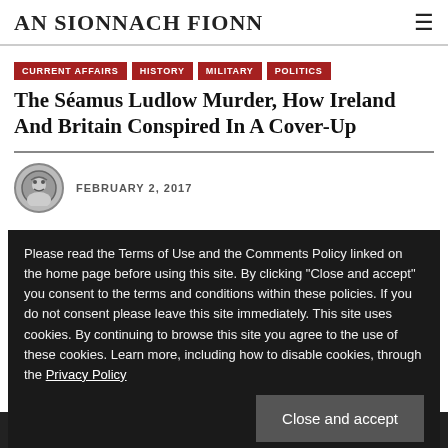AN SIONNACH FIONN
CURRENT AFFAIRS
HISTORY
MILITARY
POLITICS
The Séamus Ludlow Murder, How Ireland And Britain Conspired In A Cover-Up
FEBRUARY 2, 2017
Please read the Terms of Use and the Comments Policy linked on the home page before using this site. By clicking "Close and accept" you consent to the terms and conditions within these policies. If you do not consent please leave this site immediately. This site uses cookies. By continuing to browse this site you agree to the use of these cookies. Learn more, including how to disable cookies, through the Privacy Policy
Close and accept